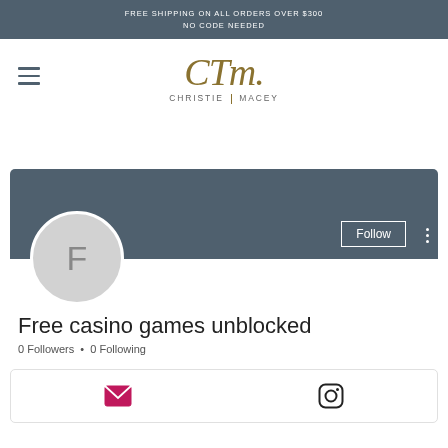FREE SHIPPING ON ALL ORDERS OVER $300
NO CODE NEEDED
[Figure (logo): Christie Macey brand logo with script initials CTM and text CHRISTIE MACEY]
[Figure (screenshot): Social media profile card for 'Free casino games unblocked' with Follow button, F avatar, 0 Followers, 0 Following, and social icons (email, Instagram)]